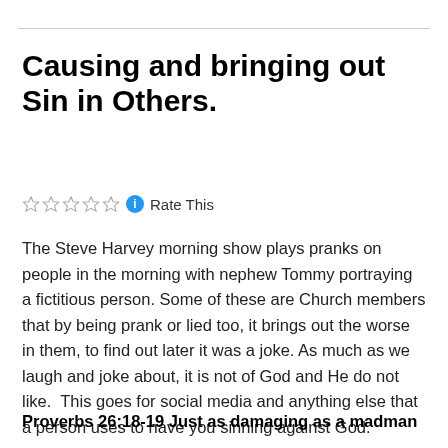Causing and bringing out Sin in Others.
☆☆☆☆☆ ℹ Rate This
The Steve Harvey morning show plays pranks on people in the morning with nephew Tommy portraying a fictitious person. Some of these are Church members that by being prank or lied too, it brings out the worse in them, to find out later it was a joke. As much as we laugh and joke about, it is not of God and He do not like.  This goes for social media and anything else that a person uses to have you sinning against God.
Proverbs 26:18-19 Just as damaging as a madman